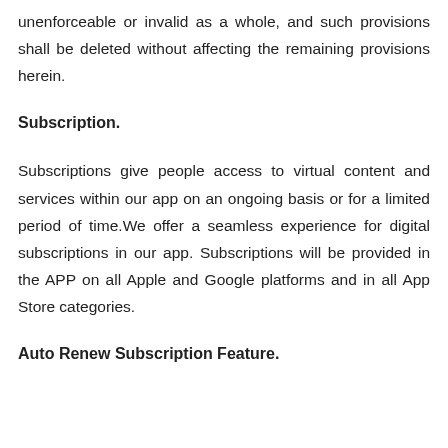unenforceable or invalid as a whole, and such provisions shall be deleted without affecting the remaining provisions herein.
Subscription.
Subscriptions give people access to virtual content and services within our app on an ongoing basis or for a limited period of time.We offer a seamless experience for digital subscriptions in our app. Subscriptions will be provided in the APP on all Apple and Google platforms and in all App Store categories.
Auto Renew Subscription Feature.